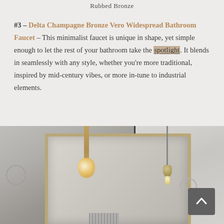Rubbed Bronze
#3 – Delta Champagne Bronze Vero Widespread Bathroom Faucet – This minimalist faucet is unique in shape, yet simple enough to let the rest of your bathroom take the spotlight. It blends in seamlessly with any style, whether you're more traditional, inspired by mid-century vibes, or more in-tune to industrial elements.
[Figure (photo): Bathroom with mirror framed in champagne bronze, pendant light bulb on left side, hanging pendant light on right side against gray/white walls]